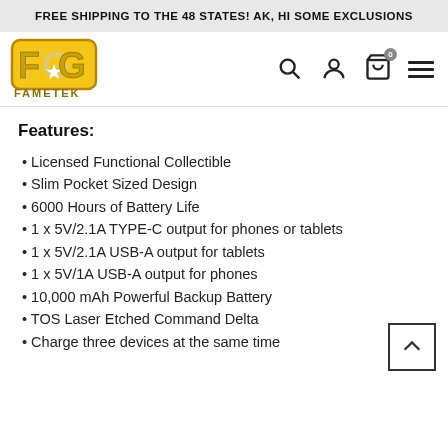FREE SHIPPING TO THE 48 STATES! AK, HI SOME EXCLUSIONS
[Figure (logo): FameTek logo — stylized F and G letters in gold with star, text FAMETEK below]
Features:
Licensed Functional Collectible
Slim Pocket Sized Design
6000 Hours of Battery Life
1 x 5V/2.1A TYPE-C output for phones or tablets
1 x 5V/2.1A USB-A output for tablets
1 x 5V/1A USB-A output for phones
10,000 mAh Powerful Backup Battery
TOS Laser Etched Command Delta
Charge three devices at the same time